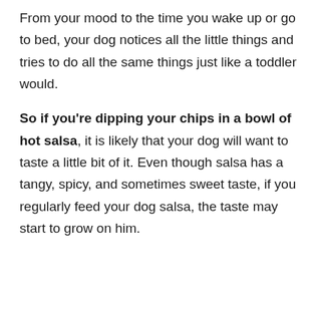From your mood to the time you wake up or go to bed, your dog notices all the little things and tries to do all the same things just like a toddler would.
So if you're dipping your chips in a bowl of hot salsa, it is likely that your dog will want to taste a little bit of it. Even though salsa has a tangy, spicy, and sometimes sweet taste, if you regularly feed your dog salsa, the taste may start to grow on him.